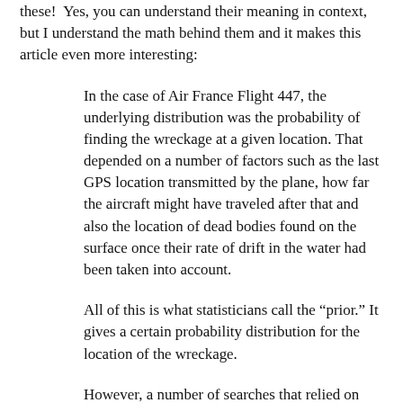these!  Yes, you can understand their meaning in context, but I understand the math behind them and it makes this article even more interesting:
In the case of Air France Flight 447, the underlying distribution was the probability of finding the wreckage at a given location. That depended on a number of factors such as the last GPS location transmitted by the plane, how far the aircraft might have traveled after that and also the location of dead bodies found on the surface once their rate of drift in the water had been taken into account.
All of this is what statisticians call the “prior.” It gives a certain probability distribution for the location of the wreckage.
However, a number of searches that relied on this information had failed to find the wreckage. So the question that Stone and co had to answer was how this evidence should be used to modify the probability distribution...